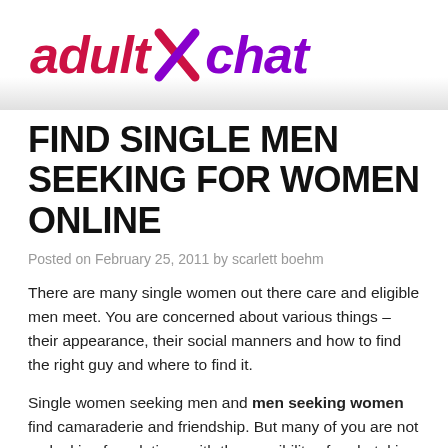[Figure (logo): adultXchat logo with 'adult' in red italic, 'X' as a red/purple cross mark, and 'chat' in purple italic]
FIND SINGLE MEN SEEKING FOR WOMEN ONLINE
Posted on February 25, 2011 by scarlett boehm
There are many single women out there care and eligible men meet. You are concerned about various things – their appearance, their social manners and how to find the right guy and where to find it.
Single women seeking men and men seeking women find camaraderie and friendship. But many of you are not on looking for relations with the possibility of undertaking throws however. Looking for different things in men such as sensitivity, good sense of humor, good personality, social status, perhaps financial stability, good nature, adventure, excitement or domestic happiness.